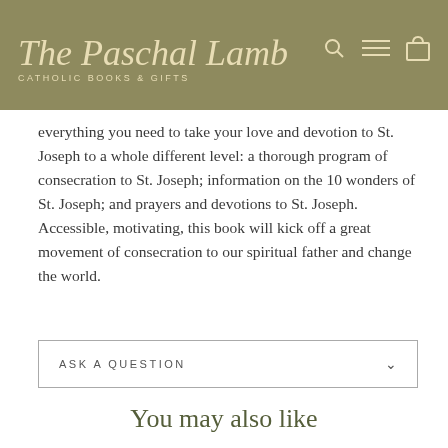The Paschal Lamb CATHOLIC BOOKS & GIFTS
everything you need to take your love and devotion to St. Joseph to a whole different level: a thorough program of consecration to St. Joseph; information on the 10 wonders of St. Joseph; and prayers and devotions to St. Joseph. Accessible, motivating, this book will kick off a great movement of consecration to our spiritual father and change the world.
ASK A QUESTION
You may also like